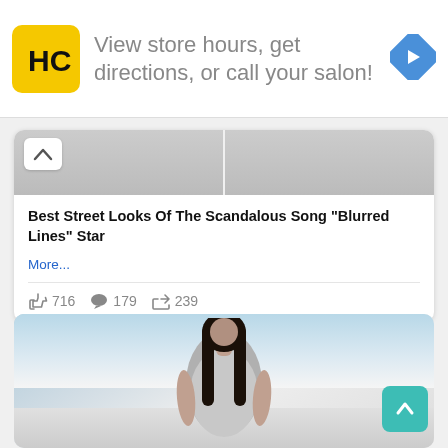[Figure (screenshot): Advertisement banner with HC salon logo (black H and C on yellow square), text 'View store hours, get directions, or call your salon!', and a blue diamond navigation arrow icon on the right.]
Best Street Looks Of The Scandalous Song “Blurred Lines” Star
More...
716   179   239
[Figure (photo): Photo of a woman with long dark hair wearing a grey crop top, photographed outdoors against a light sky background.]